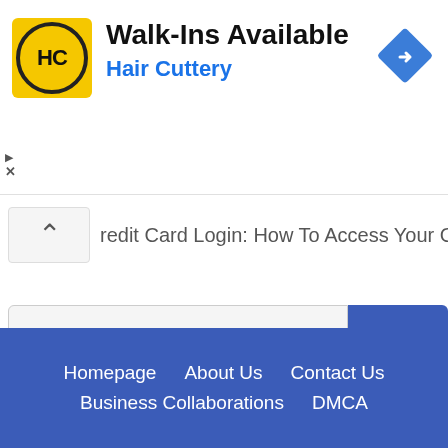[Figure (other): Hair Cuttery advertisement banner with logo (HC in yellow circle), title 'Walk-Ins Available', brand name 'Hair Cuttery' in blue, and a blue navigation/directions diamond icon on the right.]
redit Card Login: How To Access Your Credit Card Account
Search by keywords...
Search
Homepage   About Us   Contact Us   Business Collaborations   DMCA